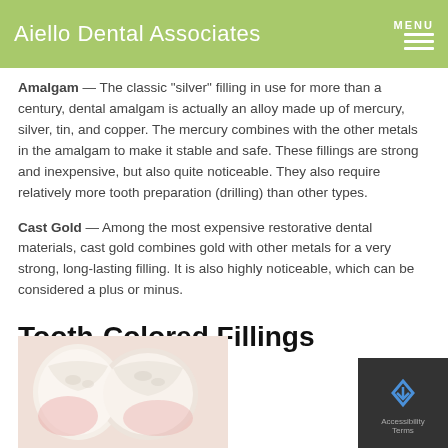Aiello Dental Associates
Amalgam — The classic "silver" filling in use for more than a century, dental amalgam is actually an alloy made up of mercury, silver, tin, and copper. The mercury combines with the other metals in the amalgam to make it stable and safe. These fillings are strong and inexpensive, but also quite noticeable. They also require relatively more tooth preparation (drilling) than other types.
Cast Gold — Among the most expensive restorative dental materials, cast gold combines gold with other metals for a very strong, long-lasting filling. It is also highly noticeable, which can be considered a plus or minus.
Tooth-Colored Fillings
[Figure (photo): Close-up photograph of teeth showing tooth-colored fillings on molars]